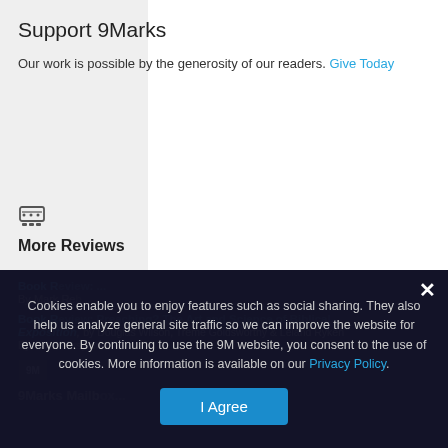Support 9Marks
Our work is possible by the generosity of our readers. Give Today
More Reviews
Book Review: ...
By Mark Reb...
Book Review: Preaching? The Art and Science of Biblical Exposition, by Douglas Wilson, Leland Ryken
By John Musyimi
9Marks Mailbox...
Cookies enable you to enjoy features such as social sharing. They also help us analyze general site traffic so we can improve the website for everyone. By continuing to use the 9M website, you consent to the use of cookies. More information is available on our Privacy Policy.
I Agree